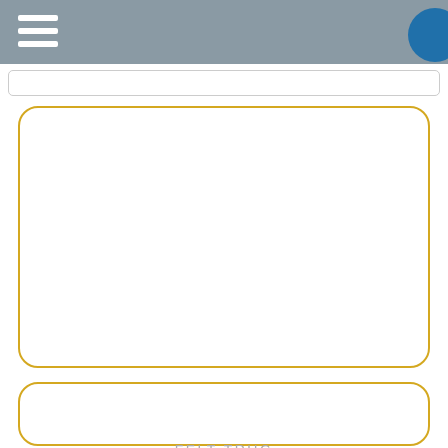[Figure (screenshot): Grey navigation header bar with white hamburger menu icon (three horizontal lines) on the left and a blue circle button on the far right]
[Figure (screenshot): White search bar below the header]
[Figure (screenshot): Top product card with gold/yellow rounded border, empty white interior]
FELT TRUG
Vanaf € 7,66